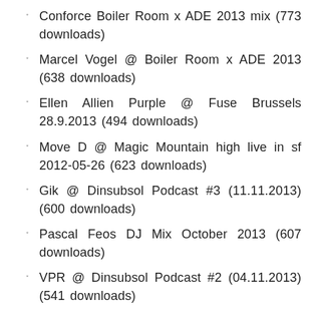Conforce Boiler Room x ADE 2013 mix (773 downloads)
Marcel Vogel @ Boiler Room x ADE 2013 (638 downloads)
Ellen Allien Purple @ Fuse Brussels 28.9.2013 (494 downloads)
Move D @ Magic Mountain high live in sf 2012-05-26 (623 downloads)
Gik @ Dinsubsol Podcast #3 (11.11.2013) (600 downloads)
Pascal Feos DJ Mix October 2013 (607 downloads)
VPR @ Dinsubsol Podcast #2 (04.11.2013) (541 downloads)
Session Victim - Kristina Records - 30.05.13 (682 downloads)